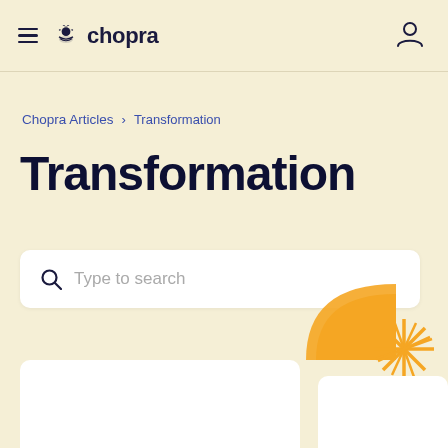chopra
Chopra Articles > Transformation
Transformation
Type to search
[Figure (illustration): Decorative golden half-circle and starburst shapes overlapping the search bar area]